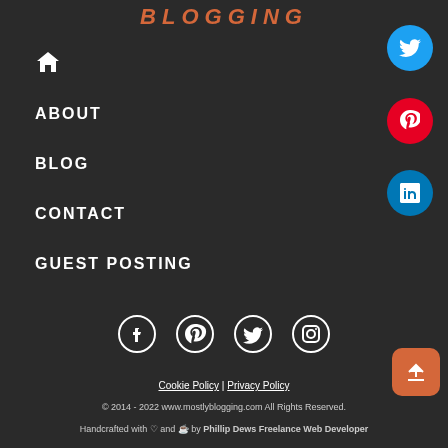BLOGGING
🏠 (home icon)
ABOUT
BLOG
CONTACT
GUEST POSTING
[Figure (infographic): Right sidebar with Twitter (blue), Pinterest (red), LinkedIn (blue) circular social media icons]
[Figure (infographic): Bottom row of social media icons: Facebook, Pinterest, Twitter, Instagram (all white on dark background)]
[Figure (infographic): Orange rounded scroll-to-top button with upload arrow icon]
Cookie Policy | Privacy Policy
© 2014 - 2022 www.mostlyblogging.com All Rights Reserved.
Handcrafted with ♡ and ☕ by Phillip Dews Freelance Web Developer